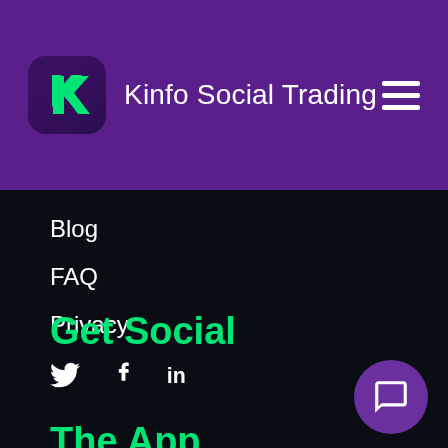Kinfo Social Trading
Blog
FAQ
Privacy
Get Social
[Figure (other): Social media icons: Twitter bird, Facebook f, LinkedIn in]
The App